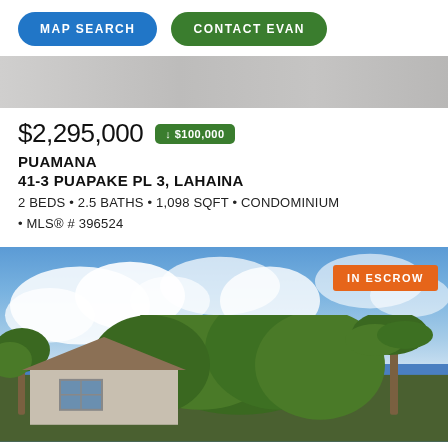MAP SEARCH
CONTACT EVAN
[Figure (photo): Top portion of a property photo, showing a light grey/neutral surface, partially cropped]
$2,295,000 ↓ $100,000
PUAMANA
41-3 PUAPAKE PL 3, LAHAINA
2 BEDS • 2.5 BATHS • 1,098 SQFT • CONDOMINIUM • MLS® # 396524
[Figure (photo): Exterior photo of a condominium property in Lahaina, Hawaii, with tropical trees, blue sky with clouds, and an orange IN ESCROW badge in the top right corner]